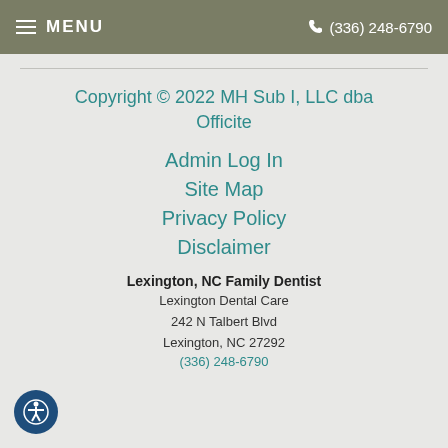MENU   (336) 248-6790
Copyright © 2022 MH Sub I, LLC dba Officite
Admin Log In
Site Map
Privacy Policy
Disclaimer
Lexington, NC Family Dentist
Lexington Dental Care
242 N Talbert Blvd
Lexington, NC 27292
(336) 248-6790